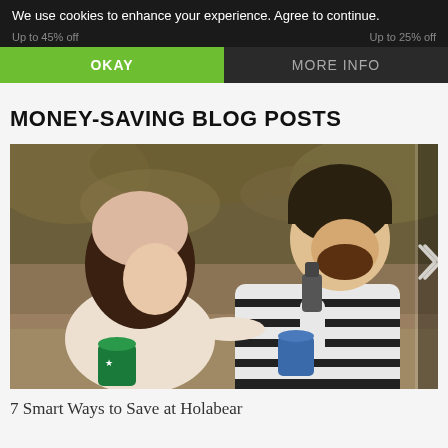We use cookies to enhance your experience. Agree to continue.
Up to 45% off    Up to 25% off
OKAY   MORE INFO
MONEY-SAVING BLOG POSTS
[Figure (photo): A couple sitting outdoors, a woman in a pink beanie and cream top smiling down at a Starbucks mug, a man in a striped sweater and dark beanie pouring from a flask into her mug, in a natural wooded setting.]
7 Smart Ways to Save at Holabear